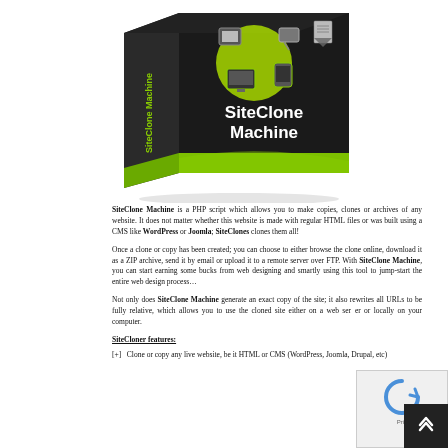[Figure (photo): Product box image of SiteClone Machine software, black box with green accents and white text reading 'SiteClone Machine', with tech/website icons on top]
SiteClone Machine is a PHP script which allows you to make copies, clones or archives of any website. It does not matter whether this website is made with regular HTML files or was built using a CMS like WordPress or Joomla; SiteClones clones them all!
Once a clone or copy has been created; you can choose to either browse the clone online, download it as a ZIP archive, send it by email or upload it to a remote server over FTP. With SiteClone Machine, you can start earning some bucks from web designing and smartly using this tool to jump-start the entire web design process…
Not only does SiteClone Machine generate an exact copy of the site; it also rewrites all URLs to be fully relative, which allows you to use the cloned site either on a web server or locally on your computer.
SiteCloner features:
[+]   Clone or copy any live website, be it HTML or CMS (WordPress, Joomla, Drupal, etc)